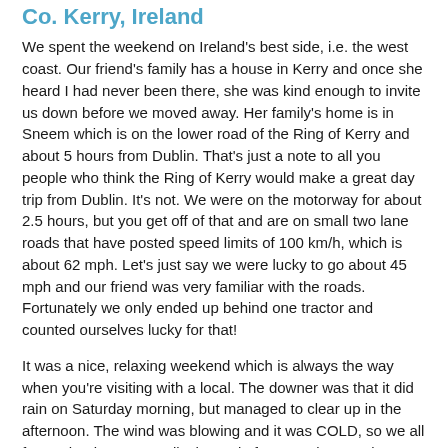Co. Kerry, Ireland
We spent the weekend on Ireland's best side, i.e. the west coast. Our friend's family has a house in Kerry and once she heard I had never been there, she was kind enough to invite us down before we moved away. Her family's home is in Sneem which is on the lower road of the Ring of Kerry and about 5 hours from Dublin. That's just a note to all you people who think the Ring of Kerry would make a great day trip from Dublin. It's not. We were on the motorway for about 2.5 hours, but you get off of that and are on small two lane roads that have posted speed limits of 100 km/h, which is about 62 mph. Let's just say we were lucky to go about 45 mph and our friend was very familiar with the roads. Fortunately we only ended up behind one tractor and counted ourselves lucky for that!
It was a nice, relaxing weekend which is always the way when you're visiting with a local. The downer was that it did rain on Saturday morning, but managed to clear up in the afternoon. The wind was blowing and it was COLD, so we all forgot that it was actually the end of May and wore winter items. Everyone else also noticed this difference in weather...